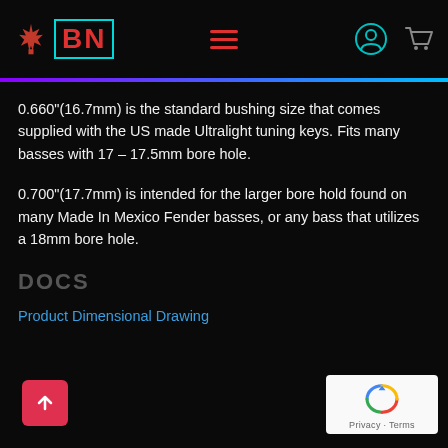BN (Bass Necessity) website header with logo, hamburger menu, user icon, and cart icon
0.660"(16.7mm) is the standard bushing size that comes supplied with the US made Ultralight tuning keys. Fits many basses with 17 – 17.5mm bore hole.
0.700"(17.7mm) is intended for the larger bore hold found on many Made In Mexico Fender basses, or any bass that utilizes a 18mm bore hole.
DOCS
Product Dimensional Drawing